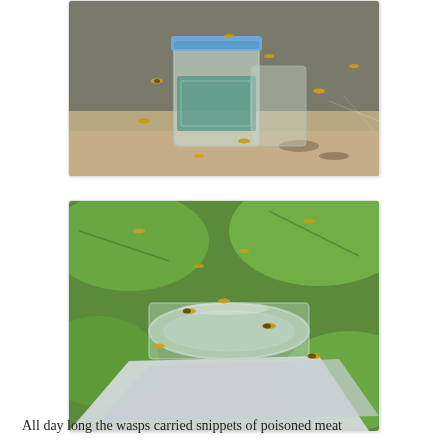[Figure (photo): A glass mason jar with a teal/green label and blue lid surrounded by wasps/bees on a sandy ground with a stone or wire mesh background.]
[Figure (photo): A glass mason jar lying on its side with the lid off, surrounded by wasps/bees, with green leaves in the background. A white cloth or paper is visible.]
All day long the wasps carried snippets of poisoned meat